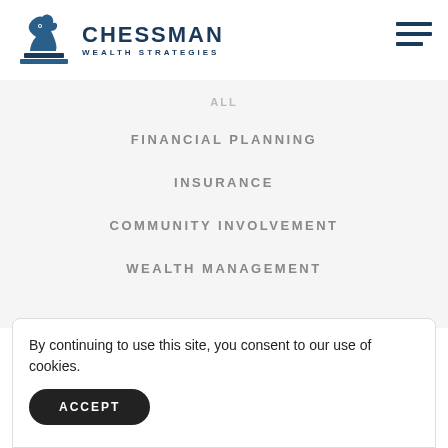[Figure (logo): Chessman Wealth Strategies logo with chess horse piece icon in blue on left, company name in dark navy bold uppercase on right]
ALL
FINANCIAL PLANNING
INSURANCE
COMMUNITY INVOLVEMENT
WEALTH MANAGEMENT
By continuing to use this site, you consent to our use of cookies.